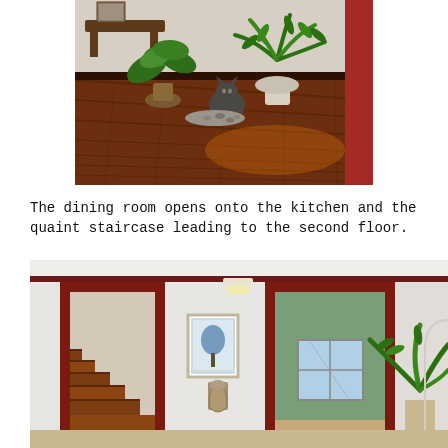[Figure (photo): Indoor photo showing potted plants including ferns and palm trees arranged on a rich dark hardwood floor. A cat sits among the plants. A red door frame is visible at the right edge.]
The dining room opens onto the kitchen and the quaint staircase leading to the second floor.
[Figure (photo): Interior photo of a home showing dark red/maroon door frames with white walls. A staircase is visible on the left. Through the open doorway is a green-walled room with a window. A framed picture hangs on the wall and a palm plant is visible at the right.]